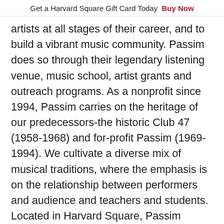Get a Harvard Square Gift Card Today  Buy Now
artists at all stages of their career, and to build a vibrant music community. Passim does so through their legendary listening venue, music school, artist grants and outreach programs. As a nonprofit since 1994, Passim carries on the heritage of our predecessors-the historic Club 47 (1958-1968) and for-profit Passim (1969-1994). We cultivate a diverse mix of musical traditions, where the emphasis is on the relationship between performers and audience and teachers and students. Located in Harvard Square, Passim serves Cambridge and the broader region by featuring local, national and international artists. Our ultimate goal is to help the performance arts flourish and thereby enrich the lives of members of our community. For a complete schedule, visit www.passim.org